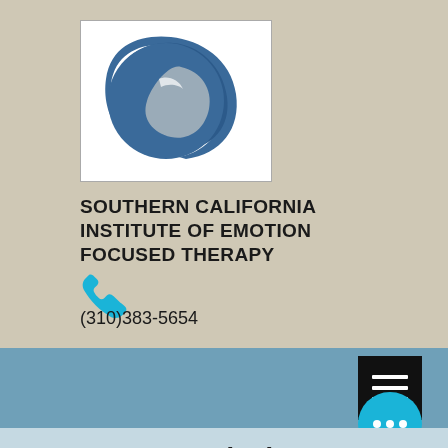[Figure (logo): Circular logo with blue and grey swirling shapes forming a stylized letter C or abstract figure, on white background. Logo of Southern California Institute of Emotion Focused Therapy.]
SOUTHERN CALIFORNIA INSTITUTE OF EMOTION FOCUSED THERAPY
[Figure (illustration): Teal/cyan phone handset icon]
(310)383-5654
[Figure (other): Black hamburger menu button with three white horizontal lines]
[Figure (other): Cyan circular floating action button with three white dots]
Our Mission